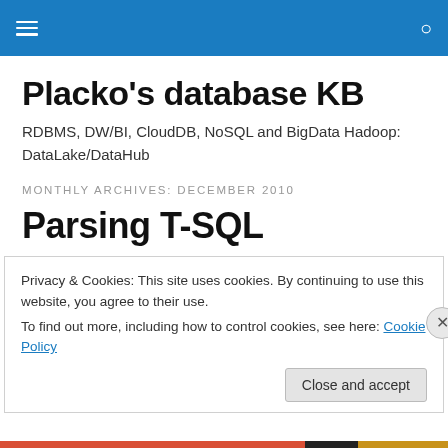Navigation menu and search bar
Placko's database KB
RDBMS, DW/BI, CloudDB, NoSQL and BigData Hadoop: DataLake/DataHub
MONTHLY ARCHIVES: DECEMBER 2010
Parsing T-SQL
Privacy & Cookies: This site uses cookies. By continuing to use this website, you agree to their use.
To find out more, including how to control cookies, see here: Cookie Policy
Close and accept